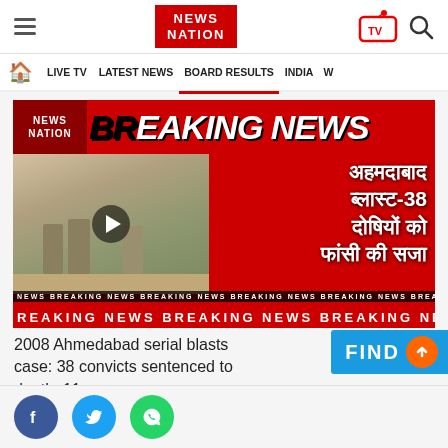[Figure (screenshot): News Nation website header with hamburger menu, News Nation logo in red, TV icon, and search icon]
NEWS NATION | LIVE TV | LATEST NEWS | BOARD RESULTS | INDIA | W
[Figure (screenshot): Breaking news video thumbnail from News Nation showing Hindi text about 2008 Ahmedabad serial blasts case with 38 convicts sentenced to death. Breaking News ticker at bottom.]
2008 Ahmedabad serial blasts case: 38 convicts sentenced to death, 11
[Figure (screenshot): FIND button bar in blue with orange scroll-up arrow button]
[Figure (screenshot): Social share icons: Facebook (blue), Twitter (blue), WhatsApp (green)]